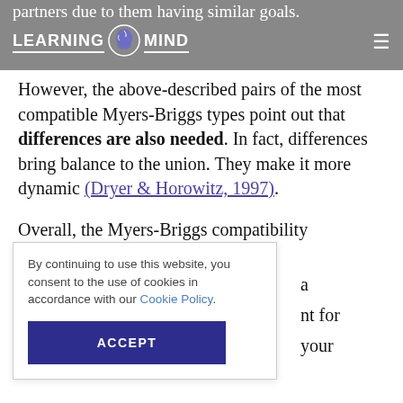partners due to them having similar goals.
However, the above-described pairs of the most compatible Myers-Briggs types point out that differences are also needed. In fact, differences bring balance to the union. They make it more dynamic (Dryer & Horowitz, 1997).
Overall, the Myers-Briggs compatibility a nt for your
By continuing to use this website, you consent to the use of cookies in accordance with our Cookie Policy.
ACCEPT